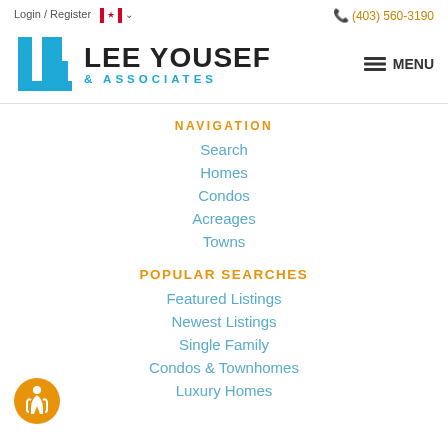Login / Register   (403) 560-3190
[Figure (logo): Lee Yousef & Associates real estate logo with blue bracket/LU icon and bold text]
NAVIGATION
Search
Homes
Condos
Acreages
Towns
POPULAR SEARCHES
Featured Listings
Newest Listings
Single Family
Condos & Townhomes
Luxury Homes